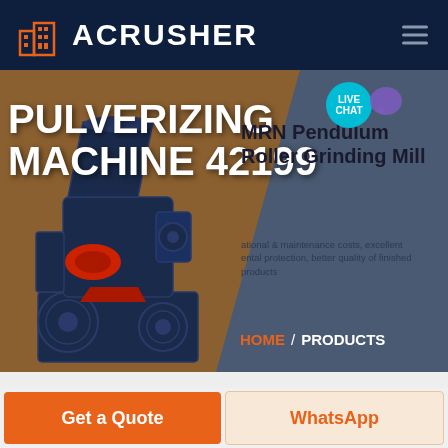ACRUSHER
[Figure (screenshot): Screenshot of ACRUSHER website hero section showing a pulverizing machine with text 'PULVERIZING MACHINE 42199', product name 'MRN Pendulum Roller Grinding Mill', description about operational & maintenance costs, excellent environmental protection, better quality of finished products, breadcrumb navigation HOME / PRODUCTS, and a LIVE CHAT badge.]
PULVERIZING MACHINE 42199
MRN Pendulum Roller Grinding Mill
ational & maintenance costs, excellent ental protection, better quality of finished products
HOME / PRODUCTS
Get a Quote
WhatsApp